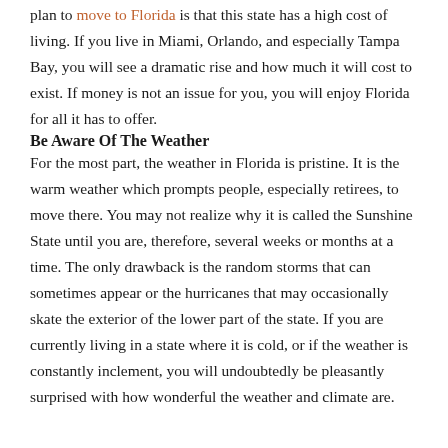plan to move to Florida is that this state has a high cost of living. If you live in Miami, Orlando, and especially Tampa Bay, you will see a dramatic rise and how much it will cost to exist. If money is not an issue for you, you will enjoy Florida for all it has to offer.
Be Aware Of The Weather
For the most part, the weather in Florida is pristine. It is the warm weather which prompts people, especially retirees, to move there. You may not realize why it is called the Sunshine State until you are, therefore, several weeks or months at a time. The only drawback is the random storms that can sometimes appear or the hurricanes that may occasionally skate the exterior of the lower part of the state. If you are currently living in a state where it is cold, or if the weather is constantly inclement, you will undoubtedly be pleasantly surprised with how wonderful the weather and climate are.